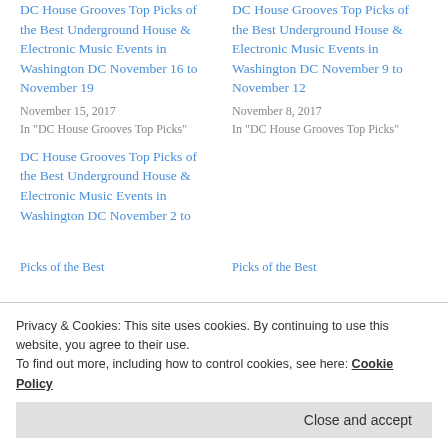DC House Grooves Top Picks of the Best Underground House & Electronic Music Events in Washington DC November 16 to November 19
November 15, 2017
In "DC House Grooves Top Picks"
DC House Grooves Top Picks of the Best Underground House & Electronic Music Events in Washington DC November 9 to November 12
November 8, 2017
In "DC House Grooves Top Picks"
DC House Grooves Top Picks of the Best Underground House & Electronic Music Events in Washington DC November 2 to
Privacy & Cookies: This site uses cookies. By continuing to use this website, you agree to their use.
To find out more, including how to control cookies, see here: Cookie Policy
Close and accept
Picks of the Best
Picks of the Best